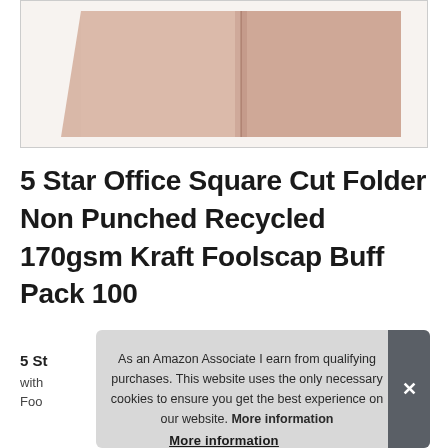[Figure (photo): Product photo of 5 Star Office Square Cut Folder, showing a buff/kraft coloured open folder on a white background]
5 Star Office Square Cut Folder Non Punched Recycled 170gsm Kraft Foolscap Buff Pack 100
5 St
with
Foo
As an Amazon Associate I earn from qualifying purchases. This website uses the only necessary cookies to ensure you get the best experience on our website. More information